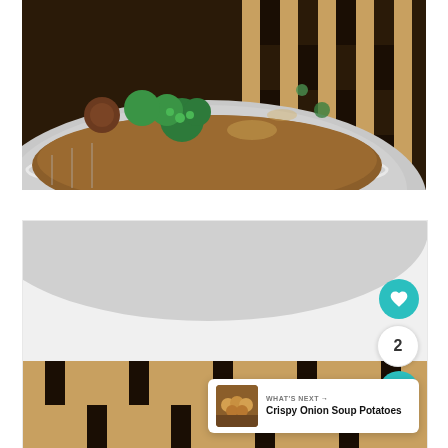[Figure (photo): Close-up photo of a white ceramic bowl containing soup with broccoli and meatballs on a checkered wooden surface]
[Figure (photo): Second cropped photo showing the lower portion of the same bowl and checkered surface, with UI overlay elements including heart/like button showing count of 2, share button, and a 'What's Next' card for Crispy Onion Soup Potatoes]